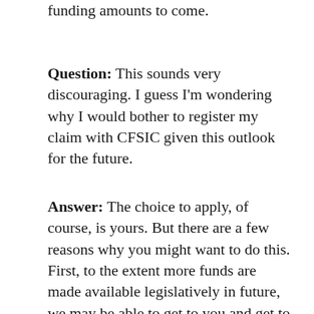funding amounts to come.
Question: This sounds very discouraging. I guess I'm wondering why I would bother to register my claim with CFSIC given this outlook for the future.
Answer: The choice to apply, of course, is yours. But there are a few reasons why you might want to do this. First, to the extent more funds are made available legislatively in future, we may be able to get to you and get to you sooner than anticipated. Also, you should be aware that there has been some discussion with the Superintendent's office and officials of state government about the possibility of accelerating part or all of our anticipated